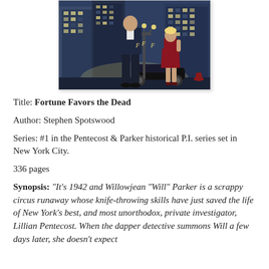[Figure (illustration): Book cover illustration for 'Fortune Favors the Dead' showing a noir city scene at night with tall buildings, a tall man in dark suit and white shirt with his back to viewer, and a woman in a red dress standing near a black car and a lamppost.]
Title: Fortune Favors the Dead
Author: Stephen Spotswood
Series: #1 in the Pentecost & Parker historical P.I. series set in New York City.
336 pages
Synopsis: "It's 1942 and Willowjean "Will" Parker is a scrappy circus runaway whose knife-throwing skills have just saved the life of New York's best, and most unorthodox, private investigator, Lillian Pentecost. When the dapper detective summons Will a few days later, she doesn't expect